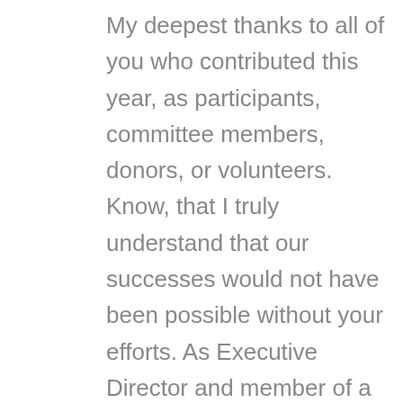My deepest thanks to all of you who contributed this year, as participants, committee members, donors, or volunteers. Know, that I truly understand that our successes would not have been possible without your efforts. As Executive Director and member of a remarkable Board of Directors, my hope is Mid Michigan Foster and Adoptive continues to find ways to help this great community soar.

Believe with me, that the best is yet to